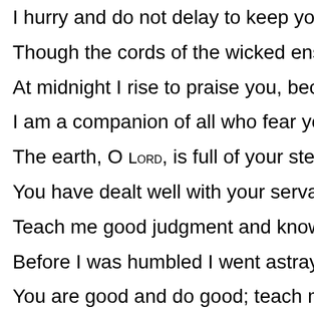I hurry and do not delay to keep your commandments.
Though the cords of the wicked ensnare me, I do not forget yo
At midnight I rise to praise you, because of your righteous ordi
I am a companion of all who fear you, of those who keep your
The earth, O LORD, is full of your steadfast love; teach me your
You have dealt well with your servant, O LORD, according to yo
Teach me good judgment and knowledge, for I believe in your
Before I was humbled I went astray, but now I keep your word.
You are good and do good; teach me your statutes.
The arrogant smear me with lies, but with my whole heart I kee
Their hearts are fat and gross, but I delight in your law.
It is good for me that I was humbled, so that I might learn your